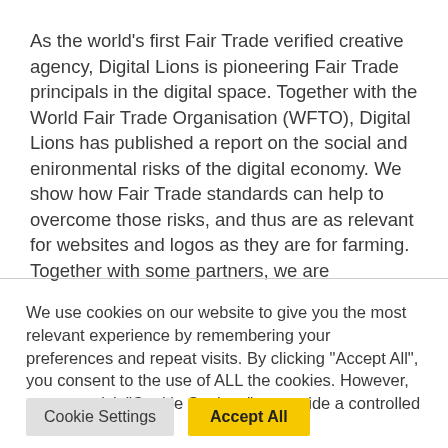As the world's first Fair Trade verified creative agency, Digital Lions is pioneering Fair Trade principals in the digital space. Together with the World Fair Trade Organisation (WFTO), Digital Lions has published a report on the social and enironmental risks of the digital economy. We show how Fair Trade standards can help to overcome those risks, and thus are as relevant for websites and logos as they are for farming. Together with some partners, we are
We use cookies on our website to give you the most relevant experience by remembering your preferences and repeat visits. By clicking "Accept All", you consent to the use of ALL the cookies. However, you may visit "Cookie Settings" to provide a controlled consent.
Cookie Settings | Accept All